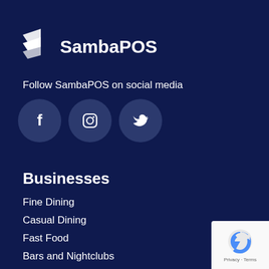[Figure (logo): SambaPOS logo with white geometric arrow/ribbon icon and text 'SambaPOS']
Follow SambaPOS on social media
[Figure (illustration): Three circular social media icons: Facebook, Instagram, Twitter on dark navy circles]
Businesses
Fine Dining
Casual Dining
Fast Food
Bars and Nightclubs
Cafe Bakery
Food Truck
[Figure (other): Google reCAPTCHA badge in bottom right corner showing reCAPTCHA logo with Privacy and Terms links]